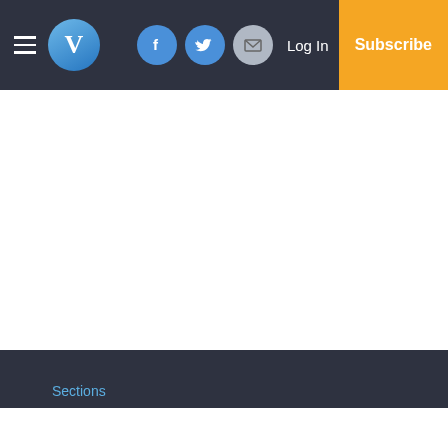V — Log In — Subscribe
[Figure (screenshot): Website navigation header with hamburger menu, V logo circle, Facebook icon, Twitter icon, email icon, Log In text, and orange Subscribe button on dark background]
Sections
Home
News
Sports
Classifieds
Small Business
Services
About Us